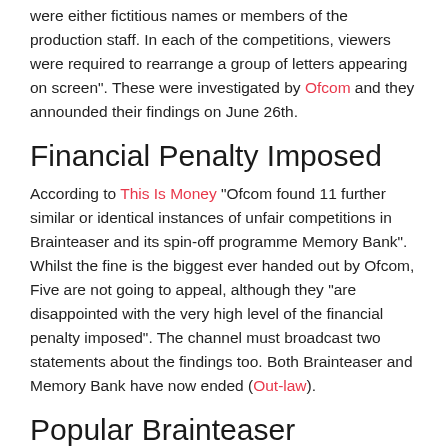were either fictitious names or members of the production staff. In each of the competitions, viewers were required to rearrange a group of letters appearing on screen". These were investigated by Ofcom and they announded their findings on June 26th.
Financial Penalty Imposed
According to This Is Money “Ofcom found 11 further similar or identical instances of unfair competitions in Brainteaser and its spin-off programme Memory Bank". Whilst the fine is the biggest ever handed out by Ofcom, Five are not going to appeal, although they “are disappointed with the very high level of the financial penalty imposed". The channel must broadcast two statements about the findings too. Both Brainteaser and Memory Bank have now ended (Out-law).
Popular Brainteaser Competition
Again this is another step in ensuring that competitions are run fairly, and the fine is a warning to other operators to make sure